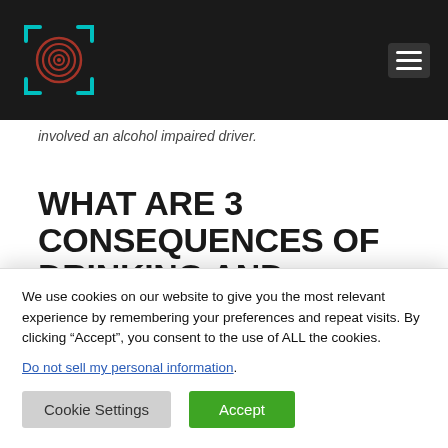Navigation header with logo and hamburger menu
involved an alcohol impaired driver.
WHAT ARE 3 CONSEQUENCES OF DRINKING AND DRIVING?
We use cookies on our website to give you the most relevant experience by remembering your preferences and repeat visits. By clicking “Accept”, you consent to the use of ALL the cookies.
Do not sell my personal information.